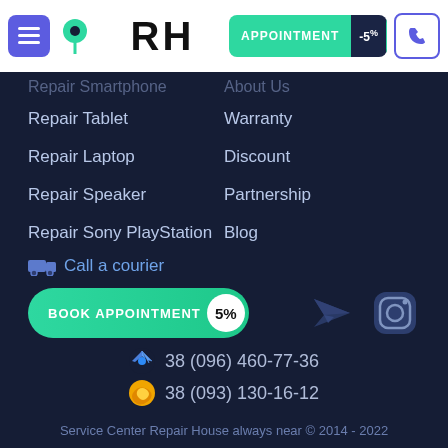RH | APPOINTMENT -5%
Repair Smartphone
About Us
Repair Tablet
Warranty
Repair Laptop
Discount
Repair Speaker
Partnership
Repair Sony PlayStation
Blog
Call a courier
BOOK APPOINTMENT 5%
38 (096) 460-77-36
38 (093) 130-16-12
Service Center Repair House always near © 2014 - 2022